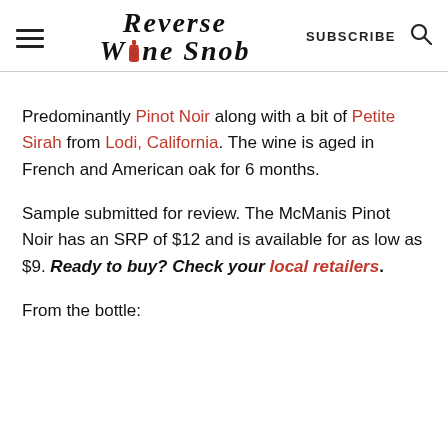Reverse Wine Snob | SUBSCRIBE
Predominantly Pinot Noir along with a bit of Petite Sirah from Lodi, California. The wine is aged in French and American oak for 6 months.
Sample submitted for review. The McManis Pinot Noir has an SRP of $12 and is available for as low as $9. Ready to buy? Check your local retailers.
From the bottle: